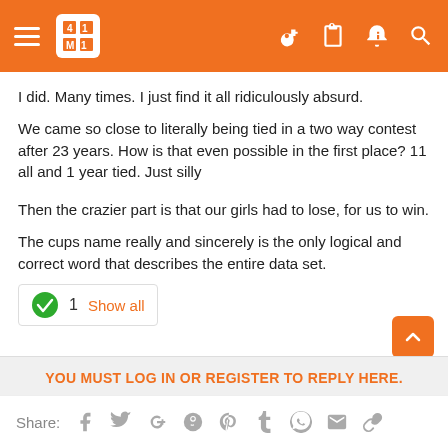[Figure (screenshot): Orange navigation header bar with hamburger menu, logo, and icons for key, clipboard, notification, and search]
I did. Many times. I just find it all ridiculously absurd.
We came so close to literally being tied in a two way contest after 23 years. How is that even possible in the first place? 11 all and 1 year tied. Just silly
Then the crazier part is that our girls had to lose, for us to win.
The cups name really and sincerely is the only logical and correct word that describes the entire data set.
✓ 1  Show all
YOU MUST LOG IN OR REGISTER TO REPLY HERE.
Share: f  t  G+  reddit  p  t  whatsapp  mail  link